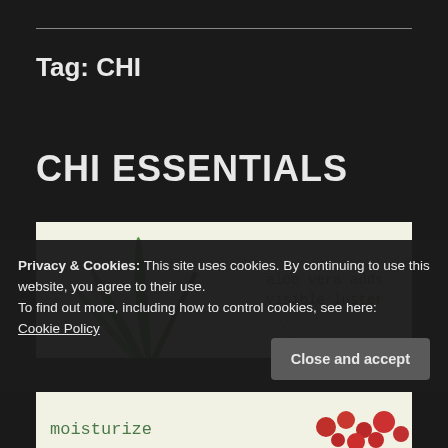Tag: CHI
CHI ESSENTIALS
[Figure (photo): Product image with aloe vera plant on cream/light yellow background with green text 'aloe vera adds visible luster']
Privacy & Cookies: This site uses cookies. By continuing to use this website, you agree to their use.
To find out more, including how to control cookies, see here:
Cookie Policy
Close and accept
[Figure (photo): Bottom strip of product image showing 'moisturize' text in green and red berries/pomegranate seeds on cream background]